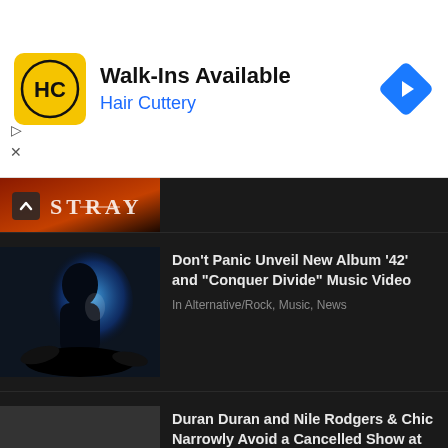[Figure (screenshot): Hair Cuttery advertisement banner with yellow HC logo, text 'Walk-Ins Available' and 'Hair Cuttery', and blue diamond navigation arrow icon]
[Figure (photo): Partially visible article thumbnail showing dark red and orange toned image with 'STRAY' text overlay]
[Figure (photo): Album art showing a dark silhouetted figure surrounded by blue light and black paint/smoke, for Don't Panic '42' article]
Don't Panic Unveil New Album '42' and "Conquer Divide" Music Video
In Alternative/Rock, Music, News
[Figure (photo): Partially visible thumbnail for Duran Duran article, dark grey image]
Duran Duran and Nile Rodgers & Chic Narrowly Avoid a Cancelled Show at Budweiser Stage [Photos]